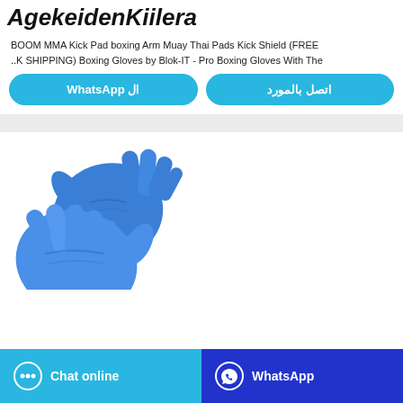AgekeidenKiilera
BOOM MMA Kick Pad boxing Arm Muay Thai Pads Kick Shield (FREE ..K SHIPPING) Boxing Gloves by Blok-IT - Pro Boxing Gloves With The
ال WhatsApp | اتصل بالمورد (buttons)
[Figure (photo): Two blue nitrile/latex gloves displayed on white background]
Chat online | WhatsApp (bottom buttons)